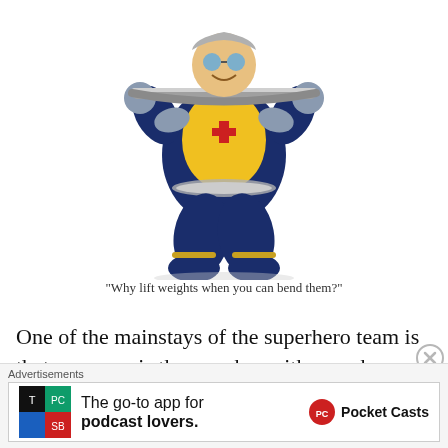[Figure (illustration): Comic book style superhero character in yellow and blue costume, muscular figure bending a metal bar, wearing goggles, with a cross emblem on chest]
“Why lift weights when you can bend them?”
One of the mainstays of the superhero team is that someone is the member with superhuman strength.
Advertisements
[Figure (screenshot): Pocket Casts advertisement: 'The go-to app for podcast lovers.' with Pocket Casts logo and app icon]